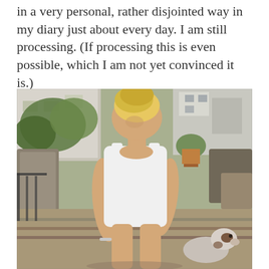in a very personal, rather disjointed way in my diary just about every day. I am still processing. (If processing this is even possible, which I am not yet convinced it is.)
[Figure (photo): A blonde woman in a white tank top sitting outdoors, looking down at a dog. Background shows outdoor furniture, plants, and a building.]